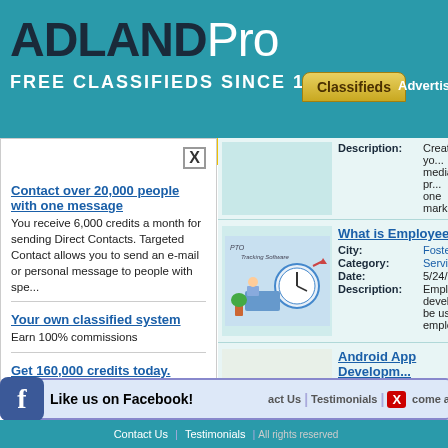ADLANDPro - FREE CLASSIFIEDS SINCE 1998
My Links
Contact over 20,000 people with one message - You receive 6,000 credits a month for sending Direct Contacts. Targeted Contact allows you to send an e-mail or personal message to people with spe...
Your own classified system - Earn 100% commissions
Get 160,000 credits today. - The Adlandpro Traffic Exchange Program. Drive traffic to your business by putting it in front of nearly 130,000 Active Users!
How to get 22,000 hits to your website for f...
Description: Create y... media pr... one mark...
What is Employee Paid - City: Foster Ci... - Category: Services - Date: 5/24/202... - Description: Employee... develope... be used b... employee...
Android App Developm... - City: Milipitas... - Category: Services - Date: 5/24/202... - Description: Planning... Softlabs ... in India o... techn...
Like us on Facebook!
Contact Us | Testimonials | come a... | All ri...